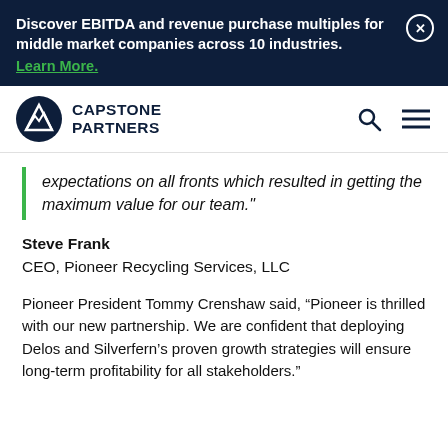Discover EBITDA and revenue purchase multiples for middle market companies across 10 industries. Learn More.
[Figure (logo): Capstone Partners logo with mountain icon and navigation icons]
expectations on all fronts which resulted in getting the maximum value for our team."
Steve Frank
CEO, Pioneer Recycling Services, LLC
Pioneer President Tommy Crenshaw said, “Pioneer is thrilled with our new partnership. We are confident that deploying Delos and Silverfern’s proven growth strategies will ensure long-term profitability for all stakeholders.”